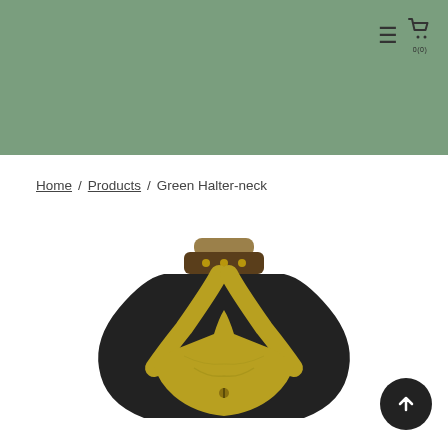[Figure (screenshot): Green header banner background of an e-commerce website]
≡  🛒  0(0)
Home / Products / Green Halter-neck
[Figure (photo): A yellow-green halter-neck top displayed on a dark mannequin torso against a white background]